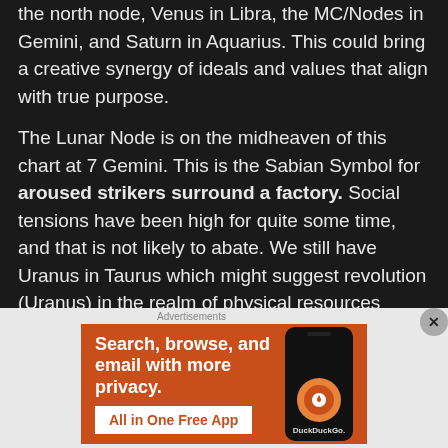the north node, Venus in Libra, the MC/Nodes in Gemini, and Saturn in Aquarius. This could bring a creative synergy of ideals and values that align with true purpose.
The Lunar Node is on the midheaven of this chart at 7 Gemini. This is the Sabian Symbol for aroused strikers surround a factory. Social tensions have been high for quite some time, and that is not likely to abate. We still have Uranus in Taurus which might suggest revolution (Uranus) in the realm of physical resources (Taurus). Mercury and Venus near the horizon of this chart suggest embracing one's true identity. This is also inconjunct to Chiron, at the
[Figure (other): DuckDuckGo advertisement banner with orange background showing 'Search, browse, and email with more privacy. All in One Free App' with DuckDuckGo logo on a smartphone mockup]